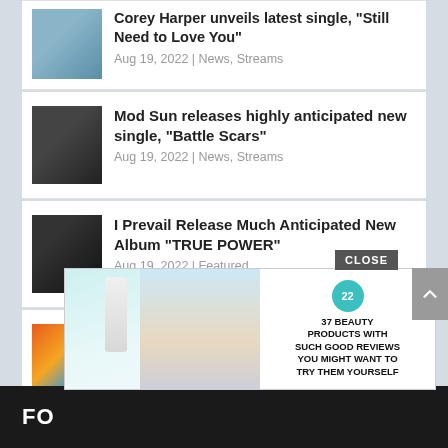Corey Harper unveils latest single, "Still Need to Love You"
Aug 19, 2022 | News, Streams
Mod Sun releases highly anticipated new single, "Battle Scars"
Aug 19, 2022 | News, Streams
I Prevail Release Much Anticipated New Album "TRUE POWER"
Aug 19, 2022 | Featured
VIZIN Wants Us To "Take Me Home" In New Visual
Aug 18, 2022 | Music
[Figure (screenshot): Advertisement overlay with a beauty product bottle, woman photo, teal badge with '22', and text '37 BEAUTY PRODUCTS WITH SUCH GOOD REVIEWS YOU MIGHT WANT TO TRY THEM YOURSELF'. Close/X button visible.]
CLOSE
FO